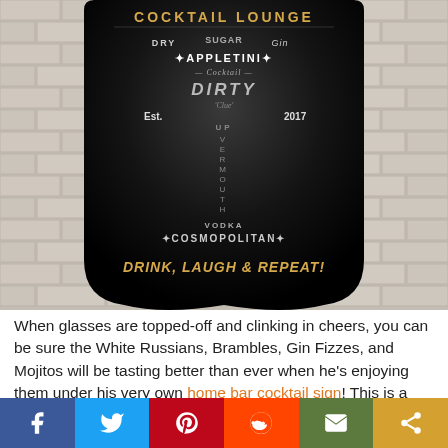[Figure (photo): Photo of a black cocktail lounge bar sign mounted on a white brick wall. The sign reads: COCKTAIL LOUNGE at top in gold letters, with various cocktail words (DRY, SUGAR, GIN, APPLETINI, Cocktail, DIRTY, Clue, Est. 2017, UP, VERMOUTH, VODKA, COSMOPOLITAN) in white/grey text forming a martini glass shape. At the bottom in gold italic text: DRINK, LAUGH & REPEAT!]
When glasses are topped-off and clinking in cheers, you can be sure the White Russians, Brambles, Gin Fizzes, and Mojitos will be tasting better than ever when he's enjoying them under his very own home bar cocktail sign! This is a
[Figure (infographic): Social media share bar with six buttons: Facebook (blue), Twitter (light blue), Pinterest (red), Reddit (orange), Email (green), Share (gold)]